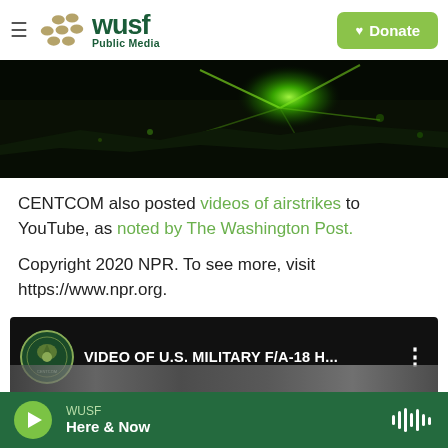WUSF Public Media | Donate
[Figure (screenshot): Night vision / thermal aerial video still — green glowing explosion on dark background]
CENTCOM also posted videos of airstrikes to YouTube, as noted by The Washington Post.
Copyright 2020 NPR. To see more, visit https://www.npr.org.
[Figure (screenshot): YouTube video embed thumbnail showing VIDEO OF U.S. MILITARY F/A-18 H... with CENTCOM seal icon]
WUSF | Here & Now